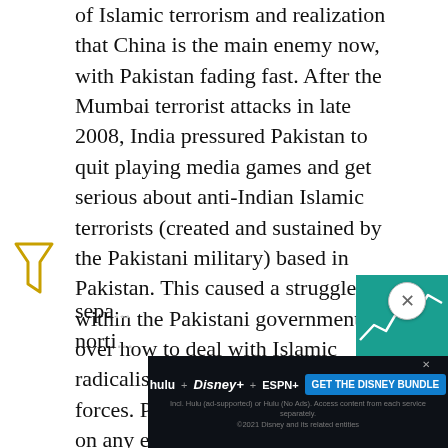of Islamic terrorism and realization that China is the main enemy now, with Pakistan fading fast. After the Mumbai terrorist attacks in late 2008, India pressured Pakistan to quit playing media games and get serious about anti-Indian Islamic terrorists (created and sustained by the Pakistani military) based in Pakistan. This caused a struggle within the Pakistani government over how to deal with Islamic radicalism and their own armed forces. Pakistan quietly backed off on any efforts to suppress its anti-India Islamic terror groups (who are popular with nationalistic Pakistanis). At the end of 2013 the elected government in Pakistan managed to replace the retiring head of the military with a general who openly admitted that Islamic terrorists were the major problem, not India. Meanwhile, India has to deal with religious (Islami... sepa... norti...
[Figure (other): Stock/financial widget showing a white line chart on teal/green background]
[Figure (other): Advertisement banner for Hulu + Disney+ + ESPN+ bundle: GET THE DISNEY BUNDLE. Dark background with streaming service logos.]